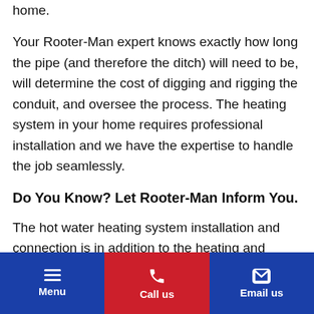home.
Your Rooter-Man expert knows exactly how long the pipe (and therefore the ditch) will need to be, will determine the cost of digging and rigging the conduit, and oversee the process. The heating system in your home requires professional installation and we have the expertise to handle the job seamlessly.
Do You Know? Let Rooter-Man Inform You.
The hot water heating system installation and connection is in addition to the heating and cooling system? We will take care of your total system needs. We provide consultation and estimates to meet your
Menu | Call us | Email us